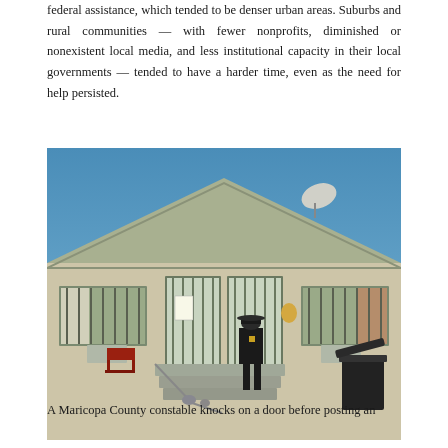federal assistance, which tended to be denser urban areas. Suburbs and rural communities — with fewer nonprofits, diminished or nonexistent local media, and less institutional capacity in their local governments — tended to have a harder time, even as the need for help persisted.
[Figure (photo): A Maricopa County constable in a black uniform stands on steps at the front door of a beige stucco single-story house with green trim, barred windows, and a satellite dish on the roof. A red chair and other items are visible to the left; a black trash can is visible on the right.]
A Maricopa County constable knocks on a door before posting an